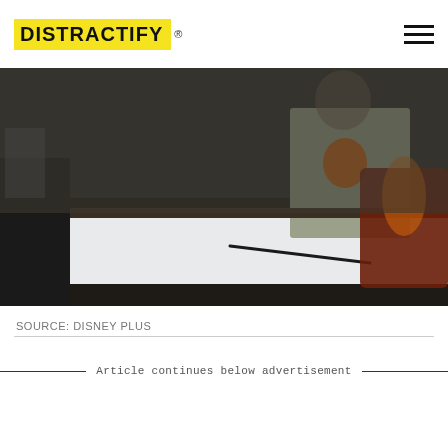DISTRACTIFY
[Figure (photo): A dark, muted scene showing a desk with a white notepad and a pen lying on it, with a blurred figure in the background wearing a light shirt with an orange graphic, and a reddish-brown mug visible on the right side.]
SOURCE: DISNEY PLUS
Article continues below advertisement